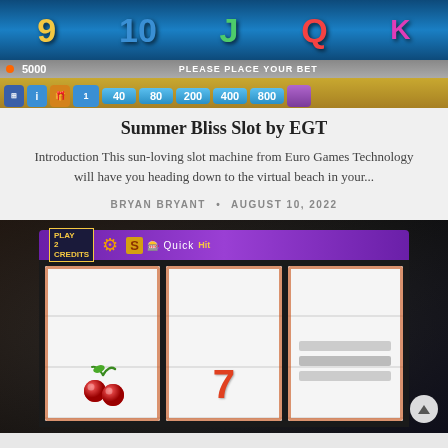[Figure (screenshot): Screenshot of Summer Bliss slot machine game by EGT showing colored card symbols (9, 10, J, Q, K) on blue background, credit display showing 5000, betting buttons (40, 80, 200, 400, 800), and 'PLEASE PLACE YOUR BET' text]
Summer Bliss Slot by EGT
Introduction This sun-loving slot machine from Euro Games Technology will have you heading down to the virtual beach in your...
BRYAN BRYANT · AUGUST 10, 2022
[Figure (photo): Photo of a physical slot machine with three reels showing cherry symbol on left reel and 7 symbol on middle reel, with Play 2 Credits sign and casino slot interface]